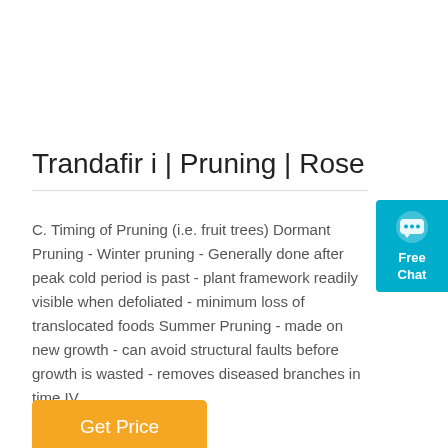Trandafir i | Pruning | Rose
C. Timing of Pruning (i.e. fruit trees) Dormant Pruning - Winter pruning - Generally done after peak cold period is past - plant framework readily visible when defoliated - minimum loss of translocated foods Summer Pruning - made on new growth - can avoid structural faults before growth is wasted - removes diseased branches in time IV.
[Figure (other): Orange 'Get Price' button]
[Figure (other): Blue 'Free Chat' widget in top right corner with chat bubble icon]